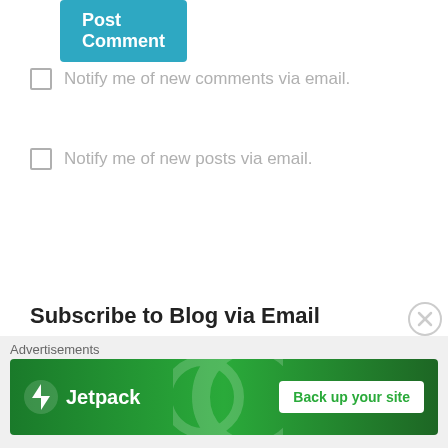[Figure (screenshot): Blue 'Post Comment' button at top of page]
Notify me of new comments via email.
Notify me of new posts via email.
[Figure (screenshot): Teal button with WordPress logo: Follow Beyond Capital]
Subscribe to Blog via Email
Enter your email address to subscribe to this blog and receive notifications of new posts by email.
[Figure (screenshot): Advertisement banner: Jetpack - Back up your site]